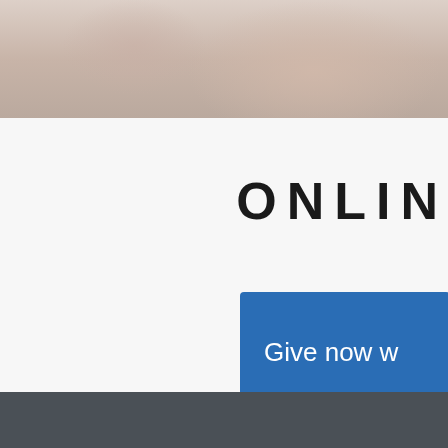[Figure (photo): Photo banner at the top showing a blurred indoor/lifestyle background with warm beige tones]
ONLIN
[Figure (other): Blue button with text 'Give now w' (partially visible)]
[Figure (other): Yellow circular element partially visible at right edge]
[Figure (other): Dark gray/slate footer band at bottom]